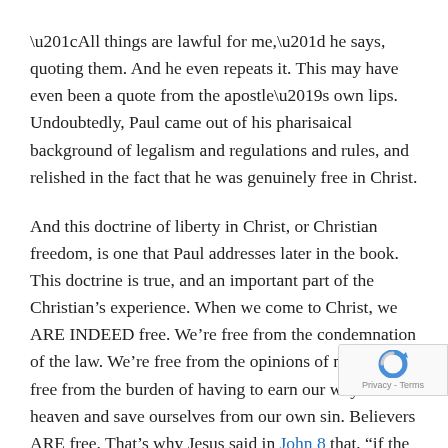“All things are lawful for me,” he says, quoting them. And he even repeats it. This may have even been a quote from the apostle’s own lips. Undoubtedly, Paul came out of his pharisaical background of legalism and regulations and rules, and relished in the fact that he was genuinely free in Christ.
And this doctrine of liberty in Christ, or Christian freedom, is one that Paul addresses later in the book. This doctrine is true, and an important part of the Christian’s experience. When we come to Christ, we ARE INDEED free. We’re free from the condemnation of the law. We’re free from the opinions of men. We’re free from the burden of having to earn our way into heaven and save ourselves from our own sin. Believers ARE free. That’s why Jesus said in John 8 that, “if the Son sets you free, you will be free indeed.”
But what Paul was addressing here was the Corinthian practice of using that genuine Christian freedom as a license to sin. And that was